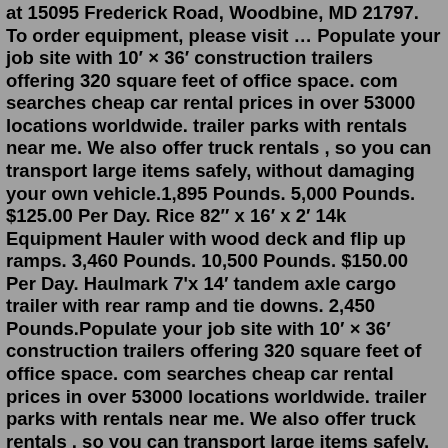at 15095 Frederick Road, Woodbine, MD 21797. To order equipment, please visit … Populate your job site with 10′ × 36′ construction trailers offering 320 square feet of office space. com searches cheap car rental prices in over 53000 locations worldwide. trailer parks with rentals near me. We also offer truck rentals , so you can transport large items safely, without damaging your own vehicle.1,895 Pounds. 5,000 Pounds. $125.00 Per Day. Rice 82″ x 16′ x 2′ 14k Equipment Hauler with wood deck and flip up ramps. 3,460 Pounds. 10,500 Pounds. $150.00 Per Day. Haulmark 7'x 14′ tandem axle cargo trailer with rear ramp and tie downs. 2,450 Pounds.Populate your job site with 10′ × 36′ construction trailers offering 320 square feet of office space. com searches cheap car rental prices in over 53000 locations worldwide. trailer parks with rentals near me. We also offer truck rentals , so you can transport large items safely, without damaging your own vehicle.Find the best Uhaul near you on Yelp - see all Uhaul open now.Explore other popular Automotive near you from